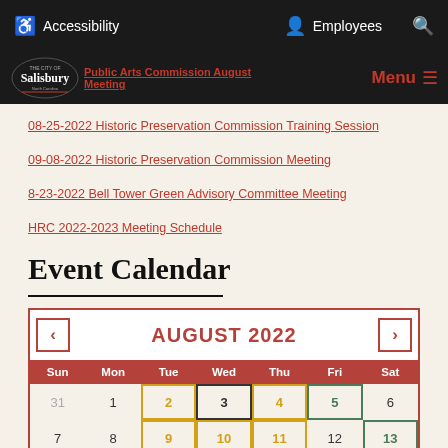Accessibility   Employees   Search
The City of Salisbury - Public Arts Commission August Meeting - Menu
08-25-2022 Historic Preservation Commission Training Session
09-08-2022 Historic Preservation Commission Meeting
8-23-2022 Bell Tower Green Advisory Committee Meeting
HRC 2022-2023 Meeting Schedule
Event Calendar
[Figure (other): August 2022 monthly calendar widget with navigation arrows, day-of-week header row, and date cells. Some dates have colored borders: orange for 2,4,9,10,11; green for 5,13; bold border for 3 (today). Dates 31,1,7,8,12,6 have no special styling.]